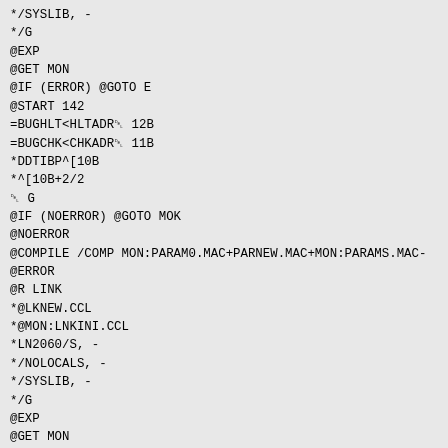*/SYSLIB, -
*/G
@EXP
@GET MON
@IF (ERROR) @GOTO E
@START 142
=BUGHLT<HLTADR 12B
=BUGCHK<CHKADR 11B
*DDTIBP^[10B
*^[10B+2/2
 G
@IF (NOERROR) @GOTO MOK
@NOERROR
@COMPILE /COMP MON:PARAM0.MAC+PARNEW.MAC+MON:PARAMS.MAC-
@ERROR
@R LINK
*@LKNEW.CCL
*@MON:LNKINI.CCL
*LN2060/S, -
*/NOLOCALS, -
*/SYSLIB, -
*/G
@EXP
@GET MON
@IF (ERROR) @GOTO E
@START 142
=BUGHLT<HLTADR 12B
=BUGCHK<CHKADR 11B
*DDTIBP^[10B
*^[10B+2/2